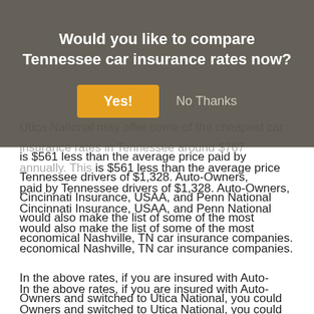Would you like to compare Tennessee car insurance rates now?
Yes!  No Thanks
Utica National may offer some of the cheapest car insurance rates in Tennessee around $767 annually. This is $561 less than the average price paid by Tennessee drivers of $1,328. Auto-Owners, Cincinnati Insurance, USAA, and Penn National would also make the list of some of the most economical Nashville, TN car insurance companies.
In the above rates, if you are insured with Auto-Owners and switched to Utica National, you could see annual savings of about $69. Policyholders with Cincinnati Insurance could save as much as $83 a year, and USAA customers might realize rate reductions of up to $152 a